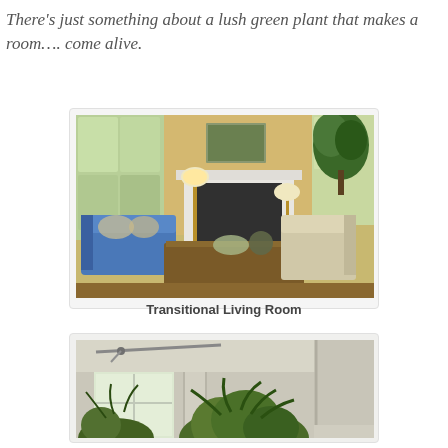There's just something about a lush green plant that makes a room…. come alive.
[Figure (photo): Interior photo of a transitional living room featuring a blue sofa, fireplace with white surround, wooden coffee table, neutral armchairs, floor lamp, and a large fiddle leaf fig tree in the corner near windows.]
Transitional Living Room
[Figure (photo): Interior photo of a room corner showing cream/beige walls, a track light on the ceiling, a white-framed window, a structural column, and lush green tropical palm plants in the foreground.]